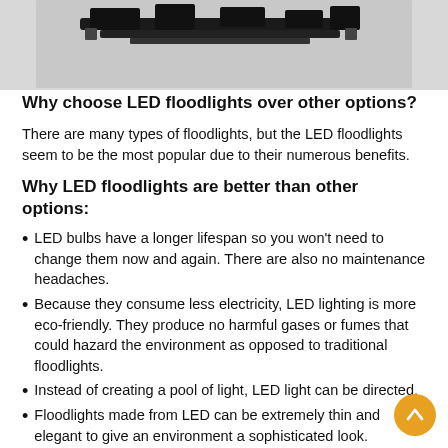[Figure (photo): Partial photo of LED floodlight hardware on gray background, dark silhouette of lighting fixture visible at top]
Why choose LED floodlights over other options?
There are many types of floodlights, but the LED floodlights seem to be the most popular due to their numerous benefits.
Why LED floodlights are better than other options:
LED bulbs have a longer lifespan so you won't need to change them now and again. There are also no maintenance headaches.
Because they consume less electricity, LED lighting is more eco-friendly. They produce no harmful gases or fumes that could hazard the environment as opposed to traditional floodlights.
Instead of creating a pool of light, LED light can be directed.
Floodlights made from LED can be extremely thin and elegant to give an environment a sophisticated look.
LED…